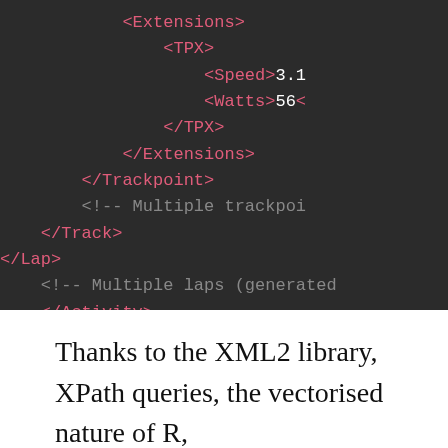[Figure (screenshot): Dark-themed code editor screenshot showing XML closing tags: Extensions, TPX, Speed with value 3.1, Watts with value 56, closing TPX, Extensions, Trackpoint, a comment about Multiple trackpoints, closing Track, Lap, a comment about Multiple laps generated, closing Activity, Activities, TrainingCenterDatabase]
Thanks to the XML2 library, XPath queries, the vectorised nature of R,